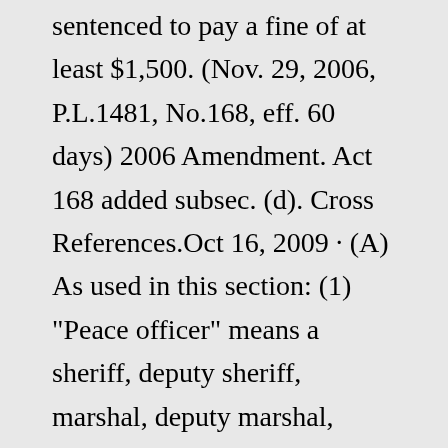sentenced to pay a fine of at least $1,500. (Nov. 29, 2006, P.L.1481, No.168, eff. 60 days) 2006 Amendment. Act 168 added subsec. (d). Cross References.Oct 16, 2009 · (A) As used in this section: (1) "Peace officer" means a sheriff, deputy sheriff, marshal, deputy marshal, member of the organized police department of a municipal corporation, or township constable, who is employed by a political subdivision of this state; a member of a police force employed